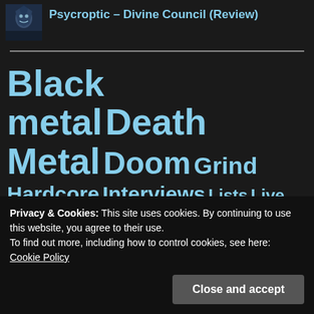Psycroptic – Divine Council (Review)
Black metal Death Metal Doom Grind Hardcore Interviews Lists Live Reviews
Privacy & Cookies: This site uses cookies. By continuing to use this website, you agree to their use.
To find out more, including how to control cookies, see here:
Cookie Policy
Close and accept